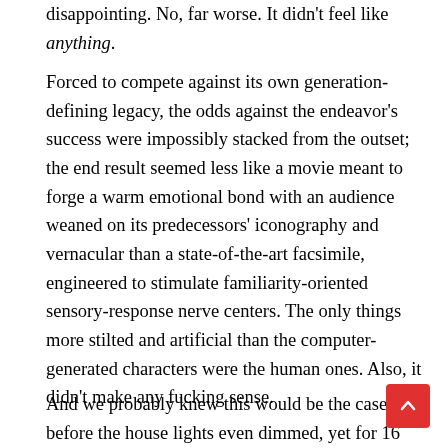disappointing. No, far worse. It didn't feel like anything.
Forced to compete against its own generation-defining legacy, the odds against the endeavor's success were impossibly stacked from the outset; the end result seemed less like a movie meant to forge a warm emotional bond with an audience weaned on its predecessors' iconography and vernacular than a state-of-the-art facsimile, engineered to stimulate familiarity-oriented sensory-response nerve centers. The only things more stilted and artificial than the computer-generated characters were the human ones. Also, it didn't make any fucking sense.
And we probably knew this would be the case before the house lights even dimmed, yet for 16 years, the specter